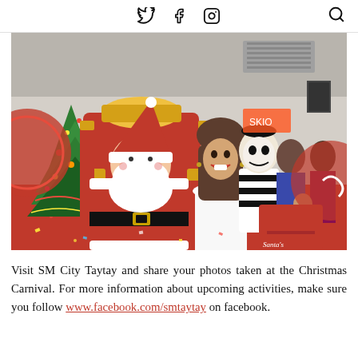Twitter, Facebook, Instagram social icons and search icon
[Figure (photo): A woman in a white dress posing next to Santa Claus seated on a red and gold throne, with a mime in a black and white striped shirt behind them, a decorated Christmas tree on the left, and a crowd of people in the background inside a mall.]
Visit SM City Taytay and share your photos taken at the Christmas Carnival. For more information about upcoming activities, make sure you follow www.facebook.com/smtaytay on facebook.